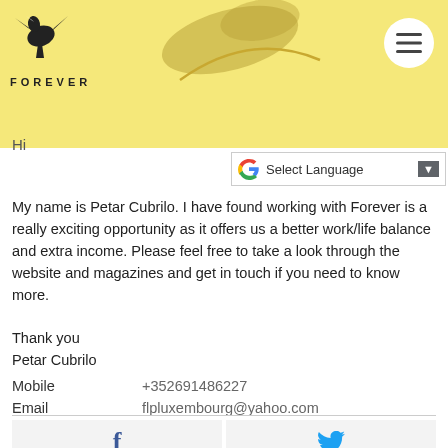[Figure (logo): Forever Living Products logo with eagle and FOREVER text on yellow banner header]
Hi
[Figure (other): Google Translate language selector bar with Select Language text]
My name is Petar Cubrilo. I have found working with Forever is a really exciting opportunity as it offers us a better work/life balance and extra income. Please feel free to take a look through the website and magazines and get in touch if you need to know more.

Thank you
Petar Cubrilo
Mobile   +352691486227
Email   flpluxembourg@yahoo.com
[Figure (other): Social media icons grid: Facebook (f), Twitter bird, Google+ (g+), LinkedIn (in), Instagram]